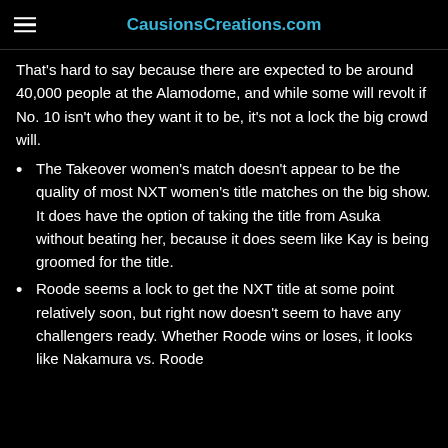CausionsCreations.com
That's hard to say because there are expected to be around 40,000 people at the Alamodome, and while some will revolt if No. 10 isn't who they want it to be, it's not a lock the big crowd will.
The Takeover women's match doesn't appear to be the quality of most NXT women's title matches on the big show. It does have the option of taking the title from Asuka without beating her, because it does seem like Kay is being groomed for the title.
Roode seems a lock to get the NXT title at some point relatively soon, but right now doesn't seem to have any challengers ready. Whether Roode wins or loses, it looks like Nakamura vs. Roode